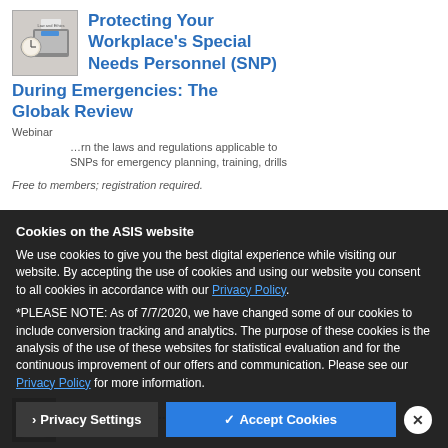[Figure (photo): Thumbnail image of a clock and laptop with a 'Law and Ethics' label overlay]
Protecting Your Workplace's Special Needs Personnel (SNP) During Emergencies: The Globak Review
Webinar
Learn the laws and regulations applicable to SNPs for emergency planning, training, drills
Free to members; registration required.
Cookies on the ASIS website
We use cookies to give you the best digital experience while visiting our website. By accepting the use of cookies and using our website you consent to all cookies in accordance with our Privacy Policy.
*PLEASE NOTE: As of 7/7/2020, we have changed some of our cookies to include conversion tracking and analytics. The purpose of these cookies is the analysis of the use of these websites for statistical evaluation and for the continuous improvement of our offers and communication. Please see our Privacy Policy for more information.
Increased Civ...
Webinar